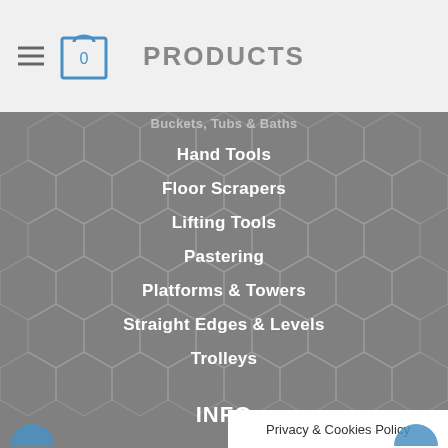PRODUCTS
Buckets, Tubs & Baths
Hand Tools
Floor Scrapers
Lifting Tools
Pastering
Platforms & Towers
Straight Edges & Levels
Trolleys
INFO
About Us
News
Contact Us
Privacy & Cookies Policy